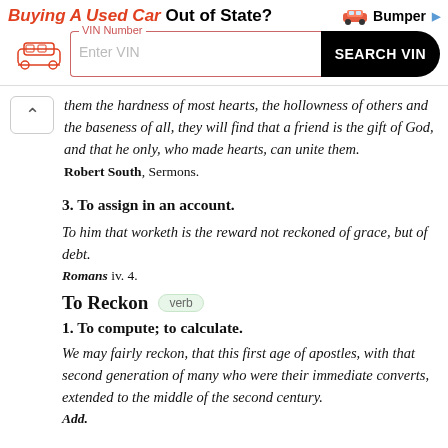[Figure (other): Advertisement banner for Bumper VIN search service: 'Buying A Used Car Out of State?' with a VIN number input field and SEARCH VIN button]
them the hardness of most hearts, the hollowness of others and the baseness of all, they will find that a friend is the gift of God, and that he only, who made hearts, can unite them.
Robert South, Sermons.
3. To assign in an account.
To him that worketh is the reward not reckoned of grace, but of debt.
Romans iv. 4.
To Reckon verb
1. To compute; to calculate.
We may fairly reckon, that this first age of apostles, with that second generation of many who were their immediate converts, extended to the middle of the second century.
Add.